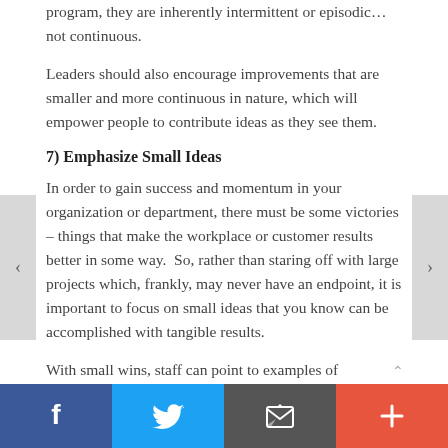program, they are inherently intermittent or episodic…not continuous.
Leaders should also encourage improvements that are smaller and more continuous in nature, which will empower people to contribute ideas as they see them.
7) Emphasize Small Ideas
In order to gain success and momentum in your organization or department, there must be some victories – things that make the workplace or customer results better in some way.  So, rather than staring off with large projects which, frankly, may never have an endpoint, it is important to focus on small ideas that you know can be accomplished with tangible results.
With small wins, staff can point to examples of